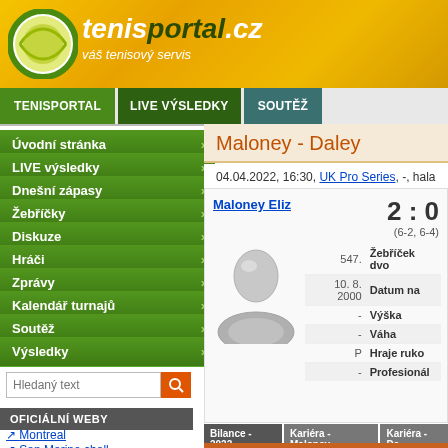[Figure (logo): tenisportal.cz logo with tennis ball icon and tagline 'váš tenisový servis']
TENISPORTAL | LIVE VÝSLEDKY | SOUTĚŽ
Úvodní stránka
LIVE výsledky
Dnešní zápasy
Žebříčky
Diskuze
Hráči
Zprávy
Kalendář turnajů
Soutěž
Výsledky
Maloney - Daley
04.04.2022, 16:30, UK Pro Series, -, hala
Maloney Eliz
2 : 0
(6-2, 6-4)
| Value | Category |
| --- | --- |
| 547. | Žebříček dvo |
| 10. 8. 2000 | Datum na |
| - | Výška |
| - | Váha |
| P | Hraje ruko |
| - | Profesionál |
OFICIÁLNÍ WEBY
Montreal
San Marino chall.
| Bilance - 2022 | Kariéra - Maloney | Kariéra - Da |
| --- | --- | --- |
| Povrch |  | Maloney E |
| Hala |  | 14/5 |
Bilance - 2022 | Kariéra - Maloney | Kariéra - Da